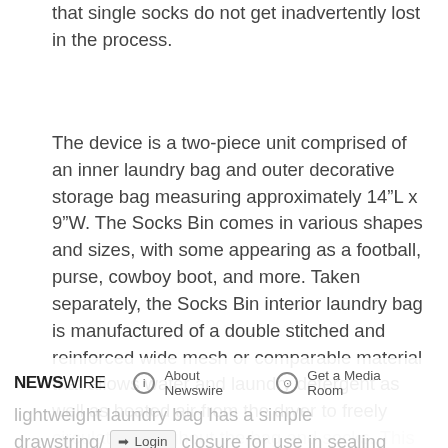that single socks do not get inadvertently lost in the process.
The device is a two-piece unit comprised of an inner laundry bag and outer decorative storage bag measuring approximately 14"L x 9"W. The Socks Bin comes in various shapes and sizes, with some appearing as a football, purse, cowboy boot, and more. Taken separately, the Socks Bin interior laundry bag is manufactured of a double stitched and reinforced wide mesh or comparable material that allows water and laundry detergent as well as heated air from the dryer to freely circulate throughout the bag and socks. This lightweight laundry bag has a simple drawstring/zipper closure for use in sealing
NEWSWIRE  ⓘ About Newswire  ⊙ Get a Media Room  → Login